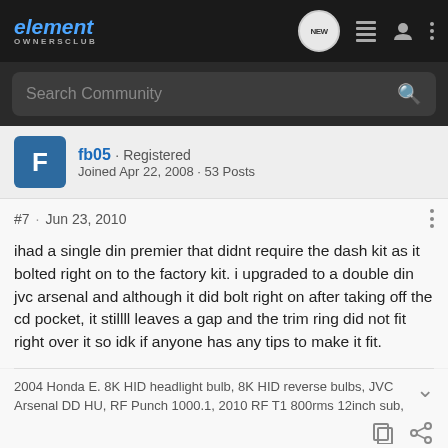[Figure (screenshot): Element Owners Club website navigation bar with logo, NEW chat icon, list icon, user icon, and three-dot menu icon]
[Figure (screenshot): Search Community search bar on dark background]
fb05 · Registered
Joined Apr 22, 2008 · 53 Posts
#7 · Jun 23, 2010
ihad a single din premier that didnt require the dash kit as it bolted right on to the factory kit. i upgraded to a double din jvc arsenal and although it did bolt right on after taking off the cd pocket, it stillll leaves a gap and the trim ring did not fit right over it so idk if anyone has any tips to make it fit.
2004 Honda E. 8K HID headlight bulb, 8K HID reverse bulbs, JVC Arsenal DD HU, RF Punch 1000.1, 2010 RF T1 800rms 12inch sub,